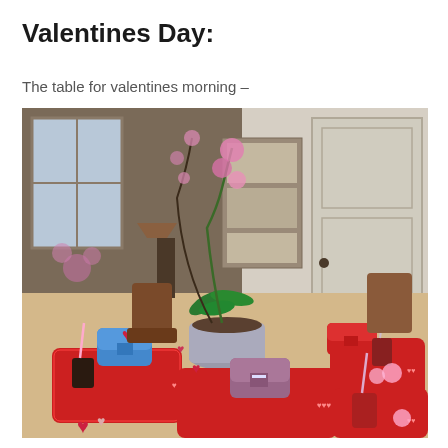Valentines Day:
The table for valentines morning –
[Figure (photo): A dining table set for Valentine's Day morning. Red trays are placed at each seat, each holding a small decorative mailbox (blue, red, and purple/mauve), cups with straws, and cupcake liners. Heart-shaped decorations are scattered on the wooden table. A silver pot with a pink orchid plant and a dark branch with pink flowers is centered on the table. Chairs are visible around the table, and a white door and bookcase are in the background.]